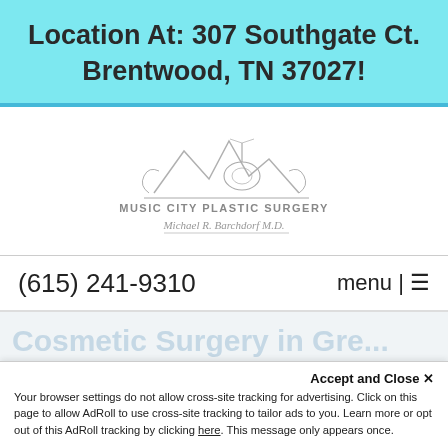Location At: 307 Southgate Ct. Brentwood, TN 37027!
[Figure (logo): Music City Plastic Surgery logo with guitar/mountain graphic and signature of Michael R. Barchdorf M.D.]
(615) 241-9310
menu | ≡
Cosmetic Surgery in Gre...
Accept and Close ×
Your browser settings do not allow cross-site tracking for advertising. Click on this page to allow AdRoll to use cross-site tracking to tailor ads to you. Learn more or opt out of this AdRoll tracking by clicking here. This message only appears once.